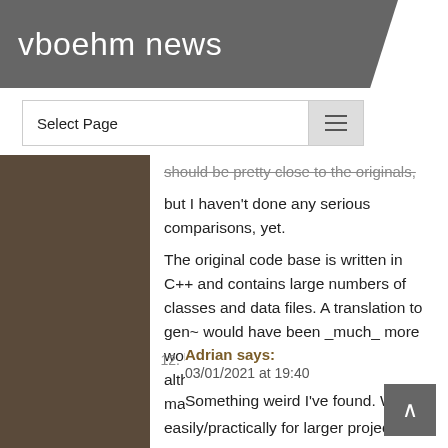vboehm news
Select Page
should be pretty close to the originals, but I haven't done any serious comparisons, yet.
The original code base is written in C++ and contains large numbers of classes and data files. A translation to gen~ would have been _much_ more work than creating max externals. And although gen~ is a nice addition to max, imho it doesn't lend itself easily/practically for larger projects.
12. Adrian says: 03/01/2021 at 19:40
Something weird I've found. When